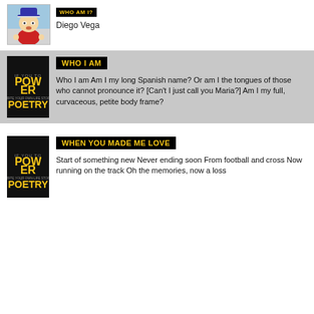[Figure (photo): Cartoon character (Eric Cartman from South Park) image thumbnail]
[Figure (other): WHO AM I? label badge in black with yellow text]
Diego Vega
[Figure (illustration): Power Poetry book cover - dark background with text]
WHO I AM
Who I am Am I my long Spanish name? Or am I the tongues of those who cannot pronounce it? [Can't I just call you Maria?] Am I my full, curvaceous, petite body frame?
[Figure (illustration): Power Poetry book cover - dark background with text]
WHEN YOU MADE ME LOVE
Start of something new Never ending soon From football and cross Now running on the track Oh the memories, now a loss